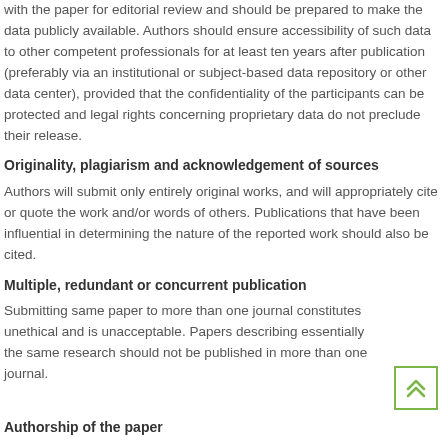with the paper for editorial review and should be prepared to make the data publicly available. Authors should ensure accessibility of such data to other competent professionals for at least ten years after publication (preferably via an institutional or subject-based data repository or other data center), provided that the confidentiality of the participants can be protected and legal rights concerning proprietary data do not preclude their release.
Originality, plagiarism and acknowledgement of sources
Authors will submit only entirely original works, and will appropriately cite or quote the work and/or words of others. Publications that have been influential in determining the nature of the reported work should also be cited.
Multiple, redundant or concurrent publication
Submitting same paper to more than one journal constitutes unethical and is unacceptable. Papers describing essentially the same research should not be published in more than one journal.
Authorship of the paper